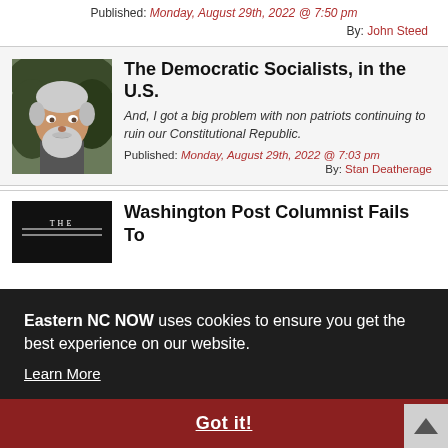Published: Monday, August 29th, 2022 @ 7:50 pm
By: John Steed
The Democratic Socialists, in the U.S.
And, I got a big problem with non patriots continuing to ruin our Constitutional Republic.
Published: Monday, August 29th, 2022 @ 7:03 pm
By: Stan Deatherage
[Figure (photo): Headshot of a man with grey beard and hair]
Washington Post Columnist Fails To
wrote
ion
y Wire
ween
years that local distillers say have benefited their bu
Eastern NC NOW uses cookies to ensure you get the best experience on our website. Learn More
Got it!